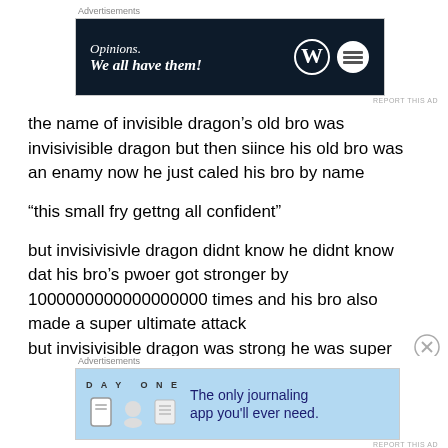Advertisements
[Figure (screenshot): Advertisement banner: dark navy background with text 'Opinions. We all have them!' and WordPress and another logo on the right]
the name of invisible dragon’s old bro was invisivisible dragon but then siince his old bro was an enamy now he just caled his bro by name
“this small fry gettng all confident”
but invisivisivle dragon didnt know he didnt know dat his bro’s pwoer got stronger by 1000000000000000000 times and his bro also made a super ultimate attack but invisivisible dragon was strong he was super duper
Advertisements
[Figure (screenshot): Advertisement banner: light blue background with DAY ONE journaling app ad — 'The only journaling app you'll ever need.']